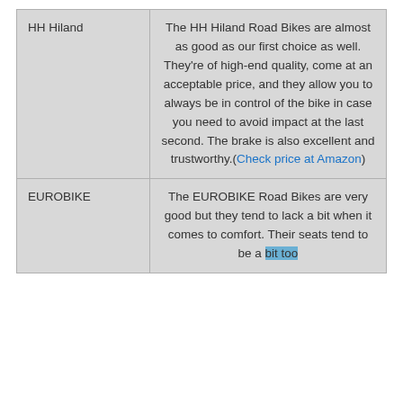|  |  |
| --- | --- |
| HH Hiland | The HH Hiland Road Bikes are almost as good as our first choice as well. They're of high-end quality, come at an acceptable price, and they allow you to always be in control of the bike in case you need to avoid impact at the last second. The brake is also excellent and trustworthy.(Check price at Amazon) |
| EUROBIKE | The EUROBIKE Road Bikes are very good but they tend to lack a bit when it comes to comfort. Their seats tend to be a bit too |